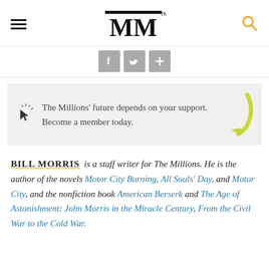MM (The Millions logo)
[Figure (screenshot): Social sharing buttons: Facebook, Twitter, and a plus/share button, displayed as gray square icons]
The Millions' future depends on your support. Become a member today.
BILL MORRIS is a staff writer for The Millions. He is the author of the novels Motor City Burning, All Souls' Day, and Motor City, and the nonfiction book American Berserk and The Age of Astonishment: John Morris in the Miracle Century, From the Civil War to the Cold War.